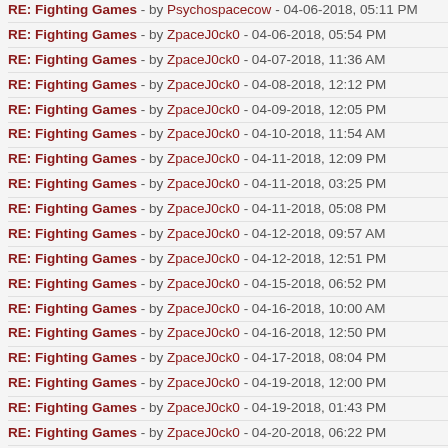RE: Fighting Games - by PsychoSpacecow - 04-06-2018, 05:11 PM
RE: Fighting Games - by ZpaceJ0ck0 - 04-06-2018, 05:54 PM
RE: Fighting Games - by ZpaceJ0ck0 - 04-07-2018, 11:36 AM
RE: Fighting Games - by ZpaceJ0ck0 - 04-08-2018, 12:12 PM
RE: Fighting Games - by ZpaceJ0ck0 - 04-09-2018, 12:05 PM
RE: Fighting Games - by ZpaceJ0ck0 - 04-10-2018, 11:54 AM
RE: Fighting Games - by ZpaceJ0ck0 - 04-11-2018, 12:09 PM
RE: Fighting Games - by ZpaceJ0ck0 - 04-11-2018, 03:25 PM
RE: Fighting Games - by ZpaceJ0ck0 - 04-11-2018, 05:08 PM
RE: Fighting Games - by ZpaceJ0ck0 - 04-12-2018, 09:57 AM
RE: Fighting Games - by ZpaceJ0ck0 - 04-12-2018, 12:51 PM
RE: Fighting Games - by ZpaceJ0ck0 - 04-15-2018, 06:52 PM
RE: Fighting Games - by ZpaceJ0ck0 - 04-16-2018, 10:00 AM
RE: Fighting Games - by ZpaceJ0ck0 - 04-16-2018, 12:50 PM
RE: Fighting Games - by ZpaceJ0ck0 - 04-17-2018, 08:04 PM
RE: Fighting Games - by ZpaceJ0ck0 - 04-19-2018, 12:00 PM
RE: Fighting Games - by ZpaceJ0ck0 - 04-19-2018, 01:43 PM
RE: Fighting Games - by ZpaceJ0ck0 - 04-20-2018, 06:22 PM
RE: Fighting Games - by Psychospacecow - 04-20-2018, 07:38 PM
RE: Fighting Games - by ZpaceJ0ck0 - 04-21-2018, 04:37 PM
RE: Fighting Games - by ZpaceJ0ck0 - 04-22-2018, 01:41 PM
RE: Fighting Games - by ZpaceJ0ck0 - 04-23-2018, 12:44 PM
RE: Fighting Games - by ZpaceJ0ck0 - 04-23-2018, 06:57 PM
RE: Fighting Games - by ZpaceJ0ck0 - 04-25-2018, 10:40 AM
RE: Fighting Games - by ZpaceJ0ck0 - (clipped)